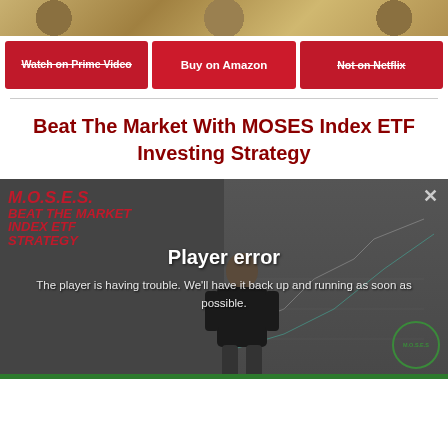[Figure (photo): Top banner image showing gold/bronze coins or medals in a row]
Watch on Prime Video
Buy on Amazon
Not on Netflix
Beat The Market With MOSES Index ETF Investing Strategy
[Figure (screenshot): Video player showing M.O.S.E.S. Beat The Market Index ETF Strategy with a man presenting, overlaid with 'Player error' message: 'The player is having trouble. We'll have it back up and running as soon as possible.']